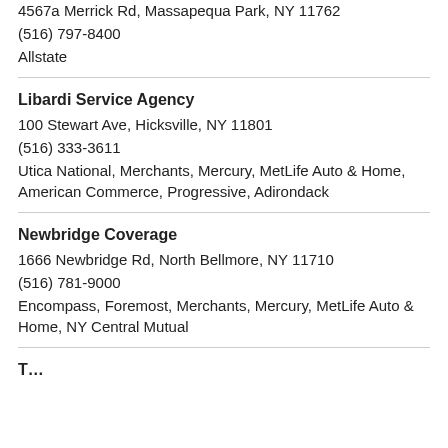4567a Merrick Rd, Massapequa Park, NY 11762
(516) 797-8400
Allstate
Libardi Service Agency
100 Stewart Ave, Hicksville, NY 11801
(516) 333-3611
Utica National, Merchants, Mercury, MetLife Auto & Home, American Commerce, Progressive, Adirondack
Newbridge Coverage
1666 Newbridge Rd, North Bellmore, NY 11710
(516) 781-9000
Encompass, Foremost, Merchants, Mercury, MetLife Auto & Home, NY Central Mutual
T…